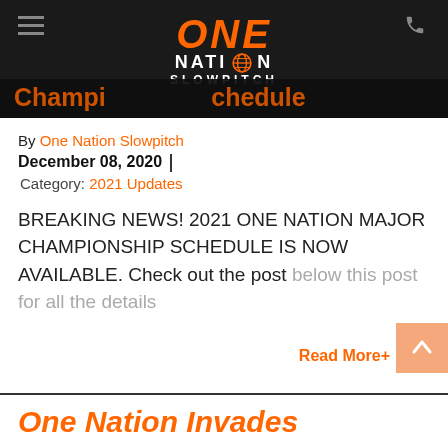[Figure (logo): One Nation Slowpitch logo with orange ONE text, globe icon, white NATION and SLOWPITCH text on dark background]
Championship Schedule
By One Nation Slowpitch
December 08, 2020
Category: 2021 Updates
BREAKING NEWS! 2021 ONE NATION MAJOR CHAMPIONSHIP SCHEDULE IS NOW AVAILABLE. Check out the post below this post for all the details
Read More+
One Nation Invades